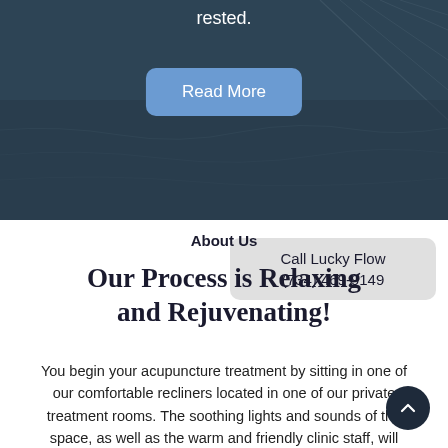[Figure (photo): Dark teal/navy background with abstract texture, representing the hero section of a wellness/acupuncture website]
rested.
Read More
Call Lucky Flow
(734) 469-9149
About Us
Our Process is Relaxing and Rejuvenating!
You begin your acupuncture treatment by sitting in one of our comfortable recliners located in one of our private treatment rooms. The soothing lights and sounds of the space, as well as the warm and friendly clinic staff, will begin working immediately to put you